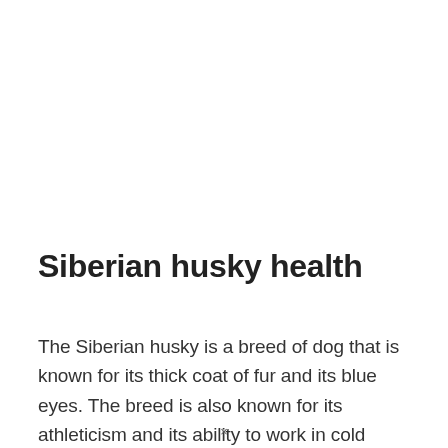Siberian husky health
The Siberian husky is a breed of dog that is known for its thick coat of fur and its blue eyes. The breed is also known for its athleticism and its ability to work in cold climates. The Siberian husky is a popular breed of
×